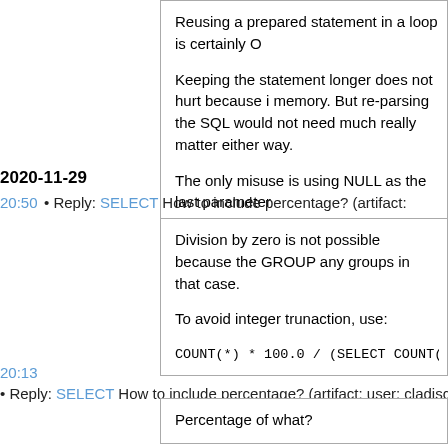Reusing a prepared statement in a loop is certainly O
Keeping the statement longer does not hurt because i memory. But re-parsing the SQL would not need much really matter either way.
The only misuse is using NULL as the last parameter
2020-11-29
20:50 • Reply: SELECT How to include percentage? (artifact:
Division by zero is not possible because the GROUP any groups in that case.
To avoid integer trunaction, use:
COUNT(*) * 100.0 / (SELECT COUNT(*) FROM
20:13 • Reply: SELECT How to include percentage? (artifact: user: cladisch)
Percentage of what?
If TOTAL(census) means the number of all rows in t you can write:
SELECT COUNT(*), (COUNT(*) / (SELECT CO